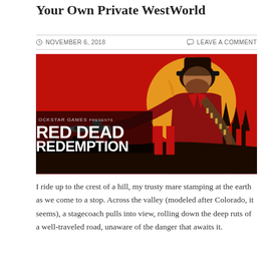Your Own Private WestWorld
NOVEMBER 6, 2018   LEAVE A COMMENT
[Figure (photo): Red Dead Redemption II cover art by Rockstar Games. A rugged cowboy in a black hat and red coat points a revolver at the camera, with a large golden sun behind him and silhouetted riders on horseback in the foreground. The game logo 'RED DEAD REDEMPTION II' appears in large text on the left.]
I ride up to the crest of a hill, my trusty mare stamping at the earth as we come to a stop. Across the valley (modeled after Colorado, it seems), a stagecoach pulls into view, rolling down the deep ruts of a well-traveled road, unaware of the danger that awaits it.